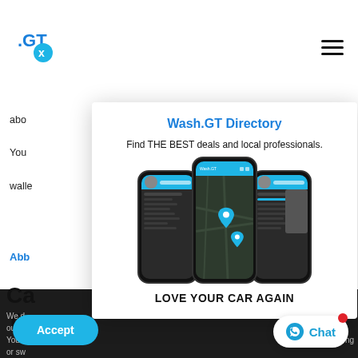[Figure (screenshot): Background website page showing partial text about car wash services with blue links, dark bottom section, Accept button and Chat button]
[Figure (screenshot): Modal popup overlay showing Wash.GT Directory app promotion with three smartphone mockups displaying the app interface]
Wash.GT Directory
Find THE BEST deals and local professionals.
LOVE YOUR CAR AGAIN
Accept
Chat